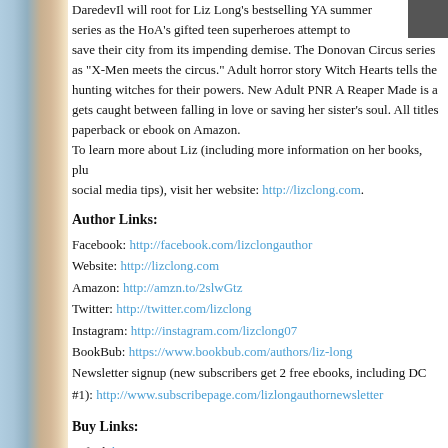DaredevIl will root for Liz Long's bestselling YA summer series as the HoA's gifted teen superheroes attempt to save their city from its impending demise. The Donovan Circus series as "X-Men meets the circus." Adult horror story Witch Hearts tells the hunting witches for their powers. New Adult PNR A Reaper Made is a gets caught between falling in love or saving her sister's soul. All titles paperback or ebook on Amazon. To learn more about Liz (including more information on her books, plu social media tips), visit her website: http://lizclong.com.
Author Links:
Facebook: http://facebook.com/lizclongauthor
Website: http://lizclong.com
Amazon: http://amzn.to/2slwGtz
Twitter: http://twitter.com/lizclong
Instagram: http://instagram.com/lizclong07
BookBub: https://www.bookbub.com/authors/liz-long
Newsletter signup (new subscribers get 2 free ebooks, including DC #1): http://www.subscribepage.com/lizlongauthornewsletter
Buy Links:
Gifted: http://amzn.to/2spQzAH
Burned: http://amzn.to/2syn13A
Hunted: http://amzn.to/2sll5uq
Ignited: http://amzn.to/2reT8RU